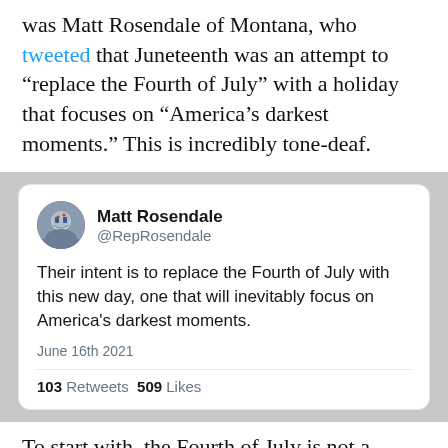was Matt Rosendale of Montana, who tweeted that Juneteenth was an attempt to “replace the Fourth of July” with a holiday that focuses on “America’s darkest moments.” This is incredibly tone-deaf.
[Figure (screenshot): Embedded tweet from Matt Rosendale (@RepRosendale) dated June 16th 2021, stating: 'Their intent is to replace the Fourth of July with this new day, one that will inevitably focus on America's darkest moments.' With 103 Retweets and 509 Likes.]
To start with, the Fourth of July is not a holiday. Independence Day is the holiday that occurs on July 4. If we’re going to nitpick, we may as well be accurate.